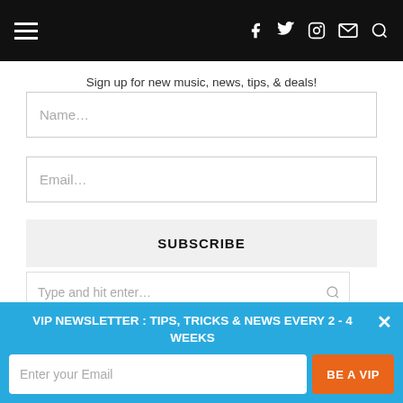Navigation bar with hamburger menu and social icons (f, twitter, instagram, email, search)
Sign up for new music, news, tips, & deals!
Name…
Email…
SUBSCRIBE
Type and hit enter…
Shares
VIP NEWSLETTER : TIPS, TRICKS & NEWS EVERY 2 - 4 WEEKS
Enter your Email
BE A VIP